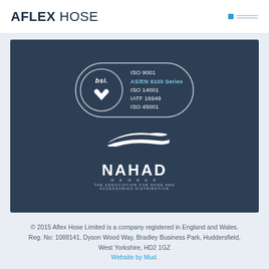AFLEX HOSE
[Figure (logo): BSI certification badge showing ISO 9001, AS/EN 9100 Series, ISO 14001, IATF 16949, ISO 45001 certifications, and NAHAD member logo (The Association for Hose and Accessories Distribution)]
© 2015 Aflex Hose Limited is a company registered in England and Wales. Reg. No: 1088141. Dyson Wood Way, Bradley Business Park, Huddersfield, West Yorkshire, HD2 1GZ
Website by Mud.